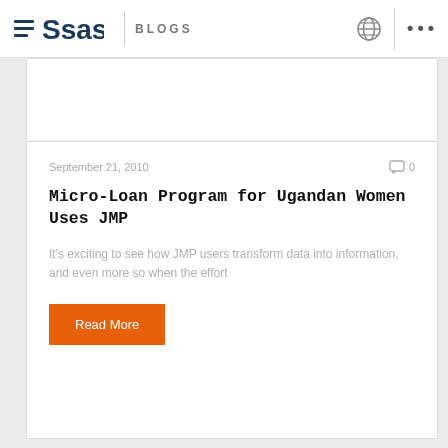SAS BLOGS
September 21, 2010  ☐ 0
Micro-Loan Program for Ugandan Women Uses JMP
It's exciting to see how JMP users transform data into information, and even more so when the effort
Read More